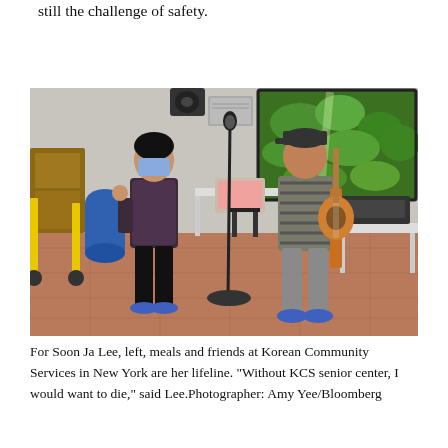still the challenge of safety.
[Figure (photo): Two people performing at a Korean community senior center. A woman on the left wearing a face mask and patterned top holds a microphone and sings. A man on the right in a striped shirt and cap plays an acoustic guitar. A large TV screen showing green tropical foliage is visible in the background. The room has tables, chairs, a laptop, and stacked boxes.]
For Soon Ja Lee, left, meals and friends at Korean Community Services in New York are her lifeline. “Without KCS senior center, I would want to die,” said Lee.Photographer: Amy Yee/Bloomberg